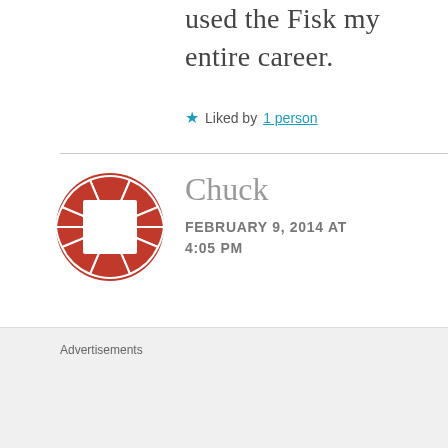used the Fisk my entire career.
★ Liked by 1 person
[Figure (illustration): Red circular avatar logo with a white square in the center, composed of triangular/petal shapes forming a rosette pattern]
Chuck
FEBRUARY 9, 2014 AT 4:05 PM
Mr. Wade, thanks for supporting
Advertisements